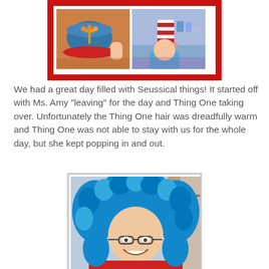[Figure (photo): Collage photo with red border showing Seussical-themed activities — left panel shows a blue bowl with orange snacks and a stick, right panel shows children with a striped hat]
We had a great day filled with Seussical things! It started off with Ms. Amy "leaving" for the day and Thing One taking over. Unfortunately the Thing One hair was dreadfully warm and Thing One was not able to stay with us for the whole day, but she kept popping in and out.
[Figure (photo): Photo of a woman wearing a large bright blue curly wig (Thing One costume) and glasses, smiling, wearing a red shirt]